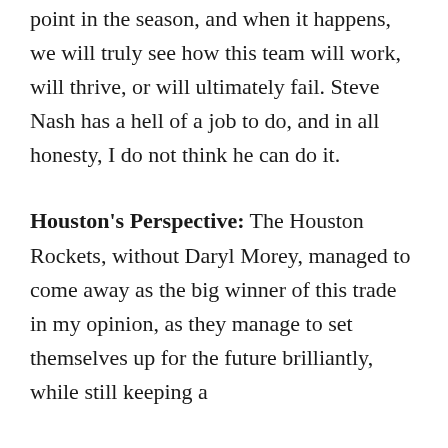point in the season, and when it happens, we will truly see how this team will work, will thrive, or will ultimately fail. Steve Nash has a hell of a job to do, and in all honesty, I do not think he can do it.
Houston's Perspective: The Houston Rockets, without Daryl Morey, managed to come away as the big winner of this trade in my opinion, as they manage to set themselves up for the future brilliantly, while still keeping a